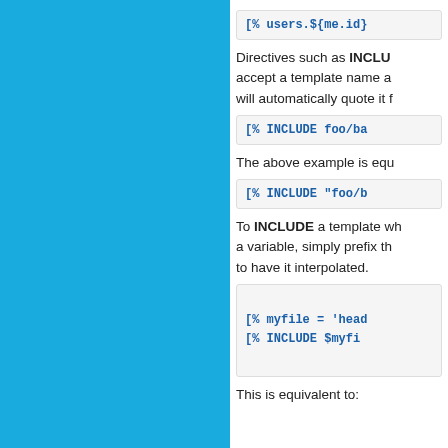[Figure (screenshot): Blue decorative panel on left side of page]
[% users.${me.id}]
Directives such as INCLUDE accept a template name as will automatically quote it f
[% INCLUDE foo/ba
The above example is equ
[% INCLUDE "foo/b
To INCLUDE a template wh a variable, simply prefix th to have it interpolated.
[% myfile = 'head [% INCLUDE $myfi
This is equivalent to: